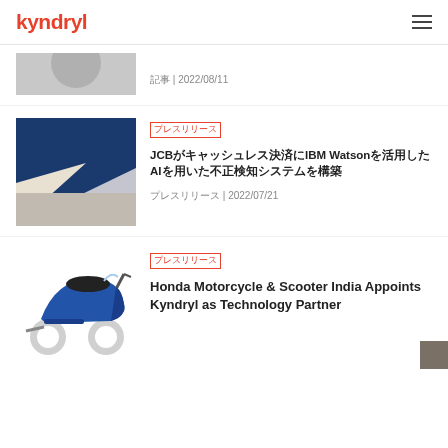kyndryl
[Figure (photo): Partial view of person holding tablet, cropped at top]
記事 | 2022/08/11
[Figure (photo): Blue geometric architectural shapes - blue and white angled panels]
プレスリリース
JCBがキャッシュレス決済にIBM Watsonを活用したAIを用いた不正検知システムを構築
プレスリリース | 2022/07/21
[Figure (photo): Blue Honda scooter/motorcycle on white background]
プレスリリース
Honda Motorcycle & Scooter India Appoints Kyndryl as Technology Partner